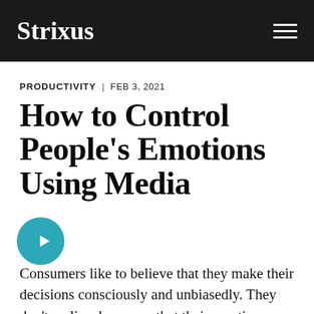Strixus
PRODUCTIVITY | FEB 3, 2021
How to Control People's Emotions Using Media
Consumers like to believe that they make their decisions consciously and unbiasedly. They don't realize, however, that their emotions (and even purchasing decisions) are being manipulated by